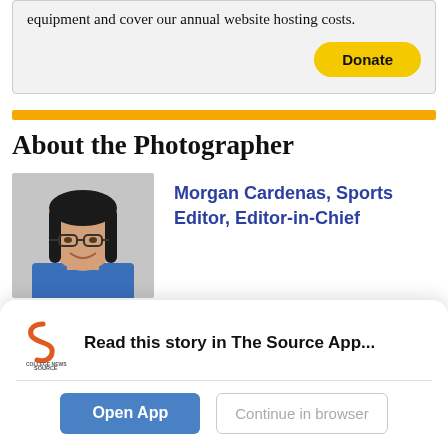equipment and cover our annual website hosting costs.
[Figure (other): Yellow 'Donate' button]
[Figure (other): Gold horizontal divider bar]
About the Photographer
[Figure (photo): Photo of Morgan Cardenas, a woman with glasses and dark hair, smiling]
Morgan Cardenas, Sports Editor, Editor-in-Chief
Read this story in The Source App...
[Figure (logo): College News Source app logo]
Open App
Continue in browser